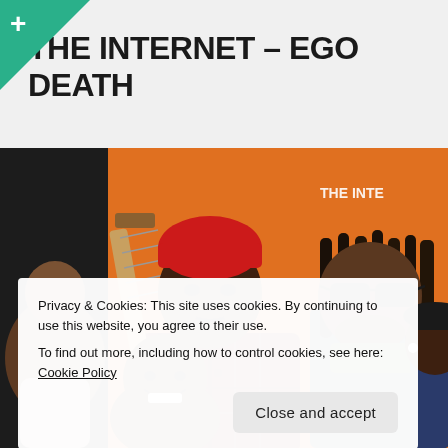THE INTERNET – EGO DEATH
[Figure (photo): Group photo of The Internet band members in front of an orange background. Several young men, one wearing a red beanie, one holding a guitar, others in casual clothing. Text 'THE INTERNET' partially visible in upper right.]
Privacy & Cookies: This site uses cookies. By continuing to use this website, you agree to their use.
To find out more, including how to control cookies, see here: Cookie Policy
Close and accept